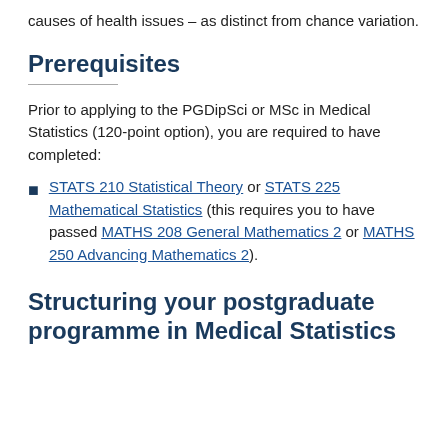causes of health issues – as distinct from chance variation.
Prerequisites
Prior to applying to the PGDipSci or MSc in Medical Statistics (120-point option), you are required to have completed:
STATS 210 Statistical Theory or STATS 225 Mathematical Statistics (this requires you to have passed MATHS 208 General Mathematics 2 or MATHS 250 Advancing Mathematics 2).
Structuring your postgraduate programme in Medical Statistics